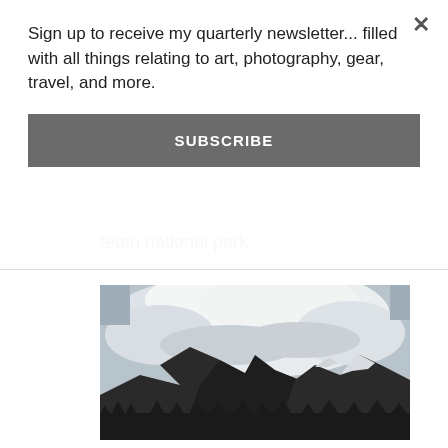Sign up to receive my quarterly newsletter... filled with all things relating to art, photography, gear, travel, and more.
SUBSCRIBE
teton national park.
[Figure (photo): Mountain peaks with snow and dense forest at the base, large dramatic white clouds billowing above the mountains against a blue-grey sky. Black and white / desaturated photography style.]